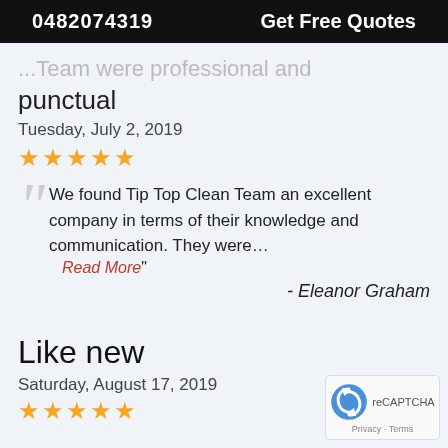0482074319   Get Free Quotes
...Team were professional and punctual
Tuesday, July 2, 2019
★★★★★
We found Tip Top Clean Team an excellent company in terms of their knowledge and communication. They were…
Read More"
- Eleanor Graham
Like new
Saturday, August 17, 2019
★★★★★